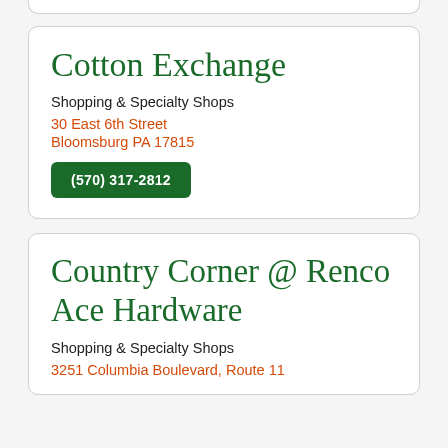Cotton Exchange
Shopping & Specialty Shops
30 East 6th Street
Bloomsburg PA 17815
(570) 317-2812
Country Corner @ Renco Ace Hardware
Shopping & Specialty Shops
3251 Columbia Boulevard, Route 11